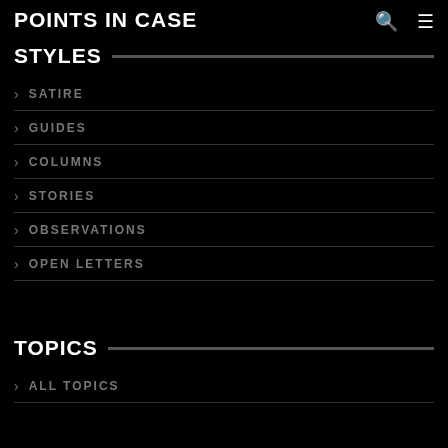POINTS IN CASE
STYLES
SATIRE
GUIDES
COLUMNS
STORIES
OBSERVATIONS
OPEN LETTERS
TOPICS
ALL TOPICS